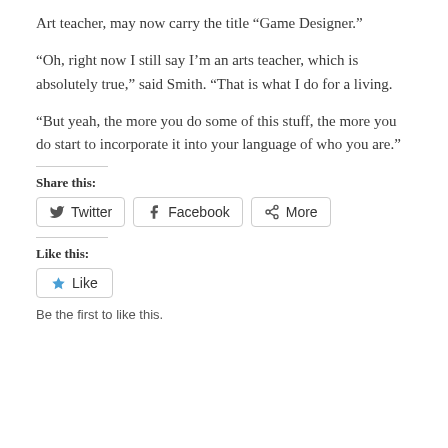Art teacher, may now carry the title “Game Designer.”
“Oh, right now I still say I’m an arts teacher, which is absolutely true,” said Smith. “That is what I do for a living.
“But yeah, the more you do some of this stuff, the more you do start to incorporate it into your language of who you are.”
Share this:
[Figure (other): Share buttons: Twitter, Facebook, More]
Like this:
[Figure (other): Like button]
Be the first to like this.